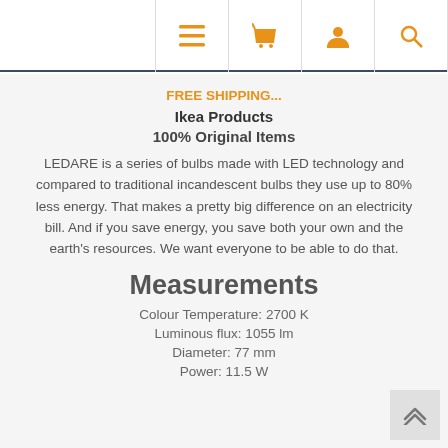Navigation icons: menu, basket, profile, search
FREE SHIPPING...
Ikea Products
100% Original Items
LEDARE is a series of bulbs made with LED technology and compared to traditional incandescent bulbs they use up to 80% less energy. That makes a pretty big difference on an electricity bill. And if you save energy, you save both your own and the earth's resources. We want everyone to be able to do that.
Measurements
Colour Temperature: 2700 K
Luminous flux: 1055 lm
Diameter: 77 mm
Power: 11.5 W